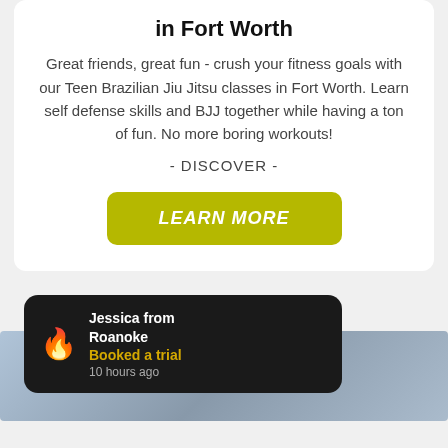in Fort Worth
Great friends, great fun - crush your fitness goals with our Teen Brazilian Jiu Jitsu classes in Fort Worth. Learn self defense skills and BJJ together while having a ton of fun. No more boring workouts!
- DISCOVER -
LEARN MORE
[Figure (screenshot): Notification popup showing Jessica from Roanoke booked a trial 10 hours ago, with a flame emoji icon, overlaid on a photo of people]
Jessica from Roanoke
Booked a trial
10 hours ago